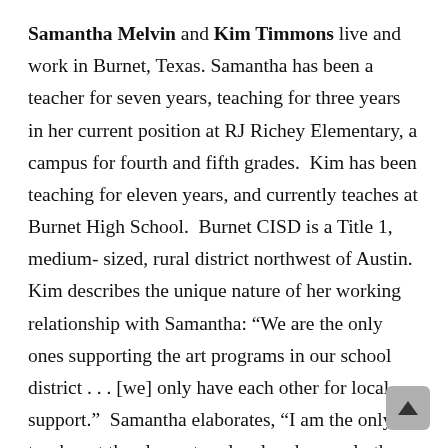Samantha Melvin and Kim Timmons live and work in Burnet, Texas. Samantha has been a teacher for seven years, teaching for three years in her current position at RJ Richey Elementary, a campus for fourth and fifth grades.  Kim has been teaching for eleven years, and currently teaches at Burnet High School.  Burnet CISD is a Title 1, medium-sized, rural district northwest of Austin. Kim describes the unique nature of her working relationship with Samantha: “We are the only ones supporting the art programs in our school district . . . [we] only have each other for local support.”  Samantha elaborates, “I am the only art teacher at the elementary level and see only the 4th and 5th graders at my campus . . . All the students feed into the same middle and high school. Kim and I meet regularly to discuss our